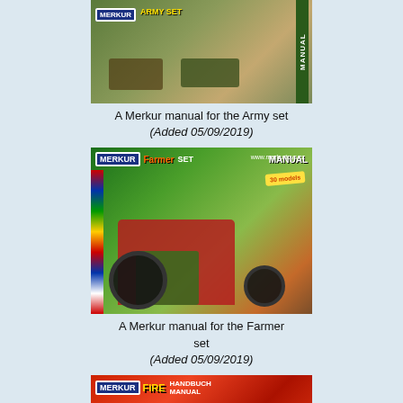[Figure (photo): Merkur manual cover for the Army set showing military tanks and vehicles on a camouflage-style green background with MANUAL label on the side]
A Merkur manual for the Army set
(Added 05/09/2019)
[Figure (photo): Merkur Farmer Set Manual cover showing a large red tractor on green farmland background, with MERKUR branding in blue box and orange Farmer text, 30 models badge]
A Merkur manual for the Farmer set
(Added 05/09/2019)
[Figure (photo): Merkur Fire set manual cover showing a red fire truck/ladder truck on red background with MERKUR branding and yellow fire safety characters]